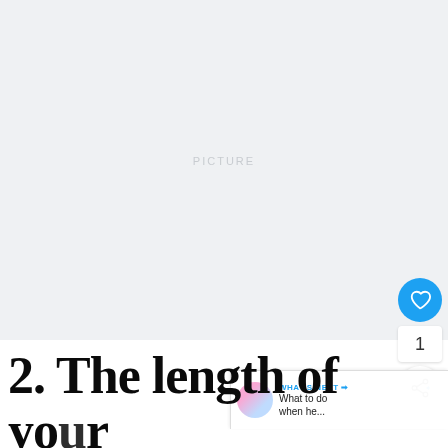[Figure (photo): Large light grey/white image placeholder area occupying the upper portion of the page]
[Figure (infographic): Blue circular heart/like button icon on right side]
1
[Figure (infographic): White circular share button with share icon on right side]
[Figure (screenshot): WHAT'S NEXT arrow banner in top-right with thumbnail and text: What to do when he...]
2. The length of your texts is always longer